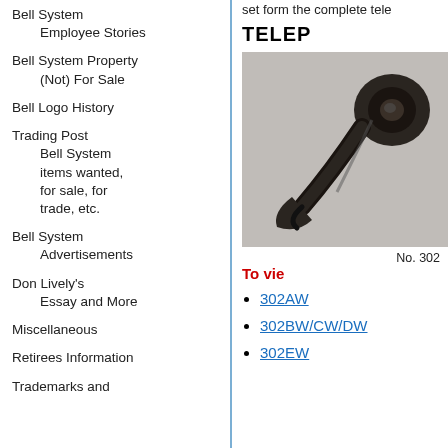Bell System Employee Stories
Bell System Property (Not) For Sale
Bell Logo History
Trading Post
    Bell System items wanted, for sale, for trade, etc.
Bell System Advertisements
Don Lively's Essay and More
Miscellaneous
Retirees Information
Trademarks and
set form the complete tele…
TELEP
[Figure (photo): Black and white photograph of a vintage telephone handset, showing the earpiece end of a rotary-style telephone receiver.]
No. 302
To vie
302AW
302BW/CW/DW
302EW